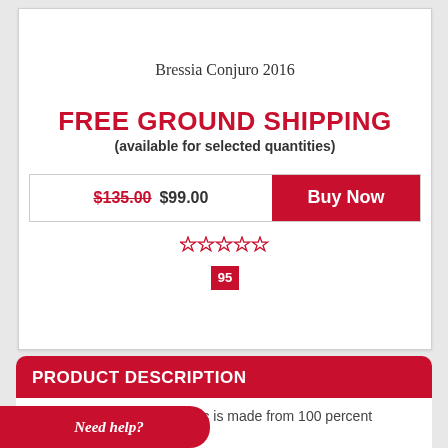Bressia Conjuro 2016
FREE GROUND SHIPPING (available for selected quantities)
$135.00 $99.00  Buy Now
[Figure (other): Five empty star rating icons in red outline]
95
PRODUCT DESCRIPTION
Bressia Monteagrelo Malbec is made from 100 percent
Need help?
ak barrels for 12 months. No filtration and